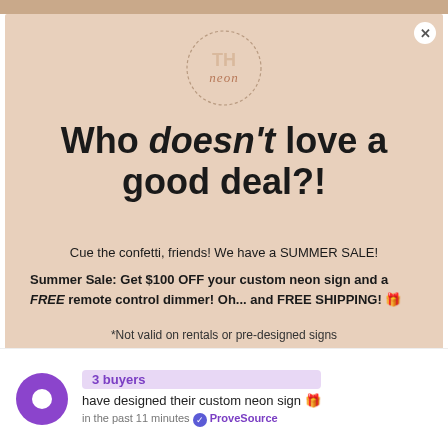[Figure (logo): Circular logo with letters TH and 'neon' script text inside a dotted circle border]
Who doesn't love a good deal?!
Cue the confetti, friends! We have a SUMMER SALE!
Summer Sale: Get $100 OFF your custom neon sign and a FREE remote control dimmer! Oh... and FREE SHIPPING! 🎉
*Not valid on rentals or pre-designed signs
Email address
3 buyers have designed their custom neon sign 🎉 in the past 11 minutes ✔ ProveSource